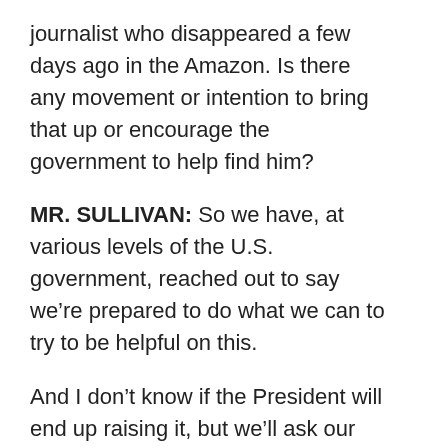journalist who disappeared a few days ago in the Amazon. Is there any movement or intention to bring that up or encourage the government to help find him?
MR. SULLIVAN: So we have, at various levels of the U.S. government, reached out to say we’re prepared to do what we can to try to be helpful on this.
And I don’t know if the President will end up raising it, but we’ll ask our team. If that would be helpful, then of course he would do it.
Q Has there been any update on North Korea? Has the U.S. heard — received any response from the North Korean